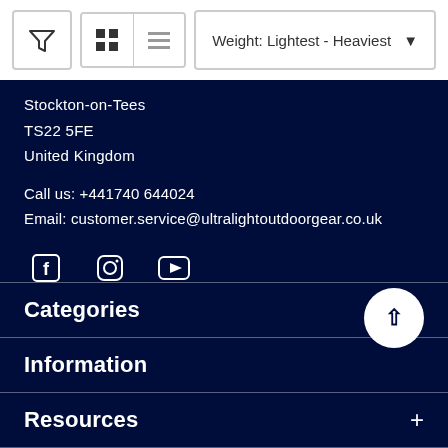[Figure (screenshot): Top toolbar with filter icon button, grid/list view toggle buttons, and a sort dropdown showing 'Weight: Lightest - Heaviest']
Stockton-on-Tees
TS22 5FE
United Kingdom
Call us: +441740 644024
Email: customer.service@ultralightoutdoorgear.co.uk
[Figure (illustration): Social media icons: Facebook, Instagram, YouTube]
Categories
Information
Resources